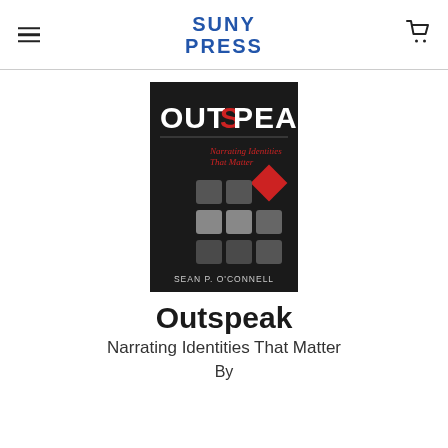SUNY PRESS
[Figure (illustration): Book cover of 'Outspeak: Narrating Identities That Matter' by Sean P. O'Connell. Dark/black background with the title 'OUTSPEAK' in large white bold letters with a red stylized S. Subtitle 'Narrating Identities That Matter' in red italic text. Nine square tiles in shades of grey with one red diamond shape. Author name 'SEAN P. O'CONNELL' at the bottom.]
Outspeak
Narrating Identities That Matter
By